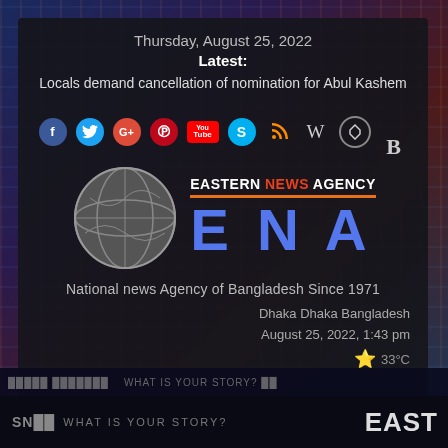Thursday, August 25, 2022
Latest:
Locals demand cancellation of nomination for Abul Kashem
[Figure (logo): Row of social media icons: Facebook, Twitter, Google+, Pinterest, YouTube, Skype, RSS, Wikipedia, Badoo, Blogger (B)]
[Figure (logo): Eastern News Agency logo with globe graphic, orange divider line, blue ENA letters, and text 'EASTERN NEWS AGENCY']
National news Agency of Bangladesh Since 1971
Dhaka Dhaka Bangladesh
August 25, 2022, 1:43 pm
33°C
SN    WHAT IS YOUR STORY?
EAST